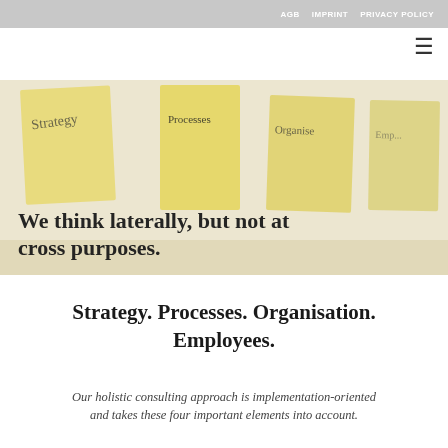AGB   IMPRINT   PRIVACY POLICY
[Figure (photo): Blurred sticky notes with handwritten labels including Strategy, Processes, Organise and another note. Yellow sticky notes on a light background.]
We think laterally, but not at cross purposes.
Strategy. Processes. Organisation. Employees.
Our holistic consulting approach is implementation-oriented and takes these four important elements into account.